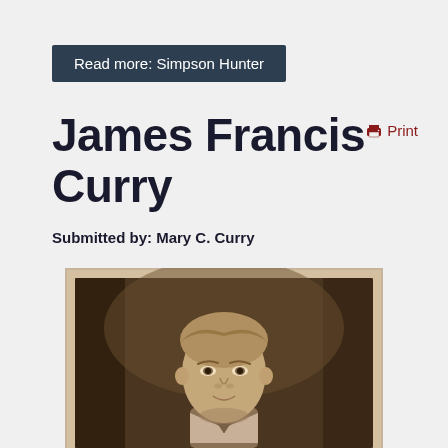Read more: Simpson Hunter
Print
James Francis Curry
Submitted by: Mary C. Curry
[Figure (photo): Sepia-toned vintage portrait photograph of a young boy with light hair, formal attire, looking slightly to the side.]